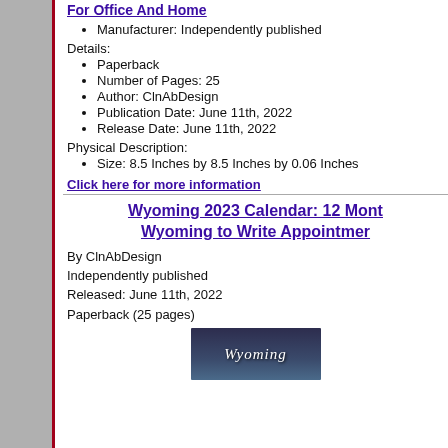For Office And Home
Manufacturer: Independently published
Details:
Paperback
Number of Pages: 25
Author: ClnAbDesign
Publication Date: June 11th, 2022
Release Date: June 11th, 2022
Physical Description:
Size: 8.5 Inches by 8.5 Inches by 0.06 Inches
Click here for more information
Wyoming 2023 Calendar: 12 Mont Wyoming to Write Appointmer
By ClnAbDesign
Independently published
Released: June 11th, 2022
Paperback (25 pages)
[Figure (photo): Book cover image showing Wyoming text in white italic script on dark blue/grey background]